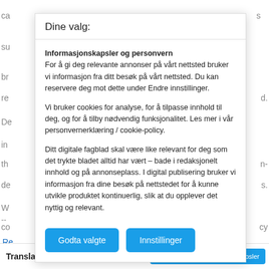ca
su
br
re
De
in
th
de
W
co
en
--
Re
Dine valg:
Informasjonskapsler og personvern
For å gi deg relevante annonser på vårt nettsted bruker vi informasjon fra ditt besøk på vårt nettsted. Du kan reservere deg mot dette under Endre innstillinger.
Vi bruker cookies for analyse, for å tilpasse innhold til deg, og for å tilby nødvendig funksjonalitet. Les mer i vår personvernerklæring / cookie-policy.
Ditt digitale fagblad skal være like relevant for deg som det trykte bladet alltid har vært – bade i redaksjonelt innhold og på annonseplass. I digital publisering bruker vi informasjon fra dine besøk på nettstedet for å kunne utvikle produktet kontinuerlig, slik at du opplever det nyttig og relevant.
Godta valgte
Innstillinger
Translated by: Dann Vinther
Innstillinger for informasjonskapsler